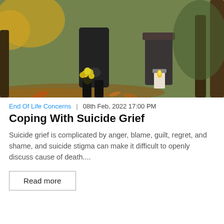[Figure (photo): Person dressed in black standing at a cemetery, holding yellow flowers, with a gravestone and candle lantern visible in the background amid autumn foliage.]
End Of Life Concerns  |  08th Feb, 2022 17:00 PM
Coping With Suicide Grief
Suicide grief is complicated by anger, blame, guilt, regret, and shame, and suicide stigma can make it difficult to openly discuss cause of death....
Read more